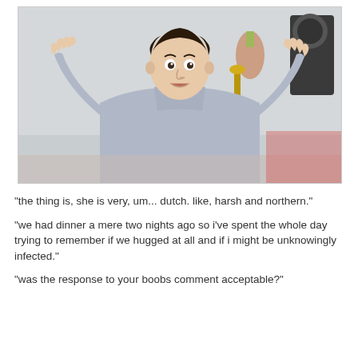[Figure (photo): A young man with dark hair wearing a light grey turtleneck sweater, with both hands raised and fingers spread in a questioning or expressive gesture, mouth open, appearing to be from a TV show set.]
"the thing is, she is very, um... dutch. like, harsh and northern."
"we had dinner a mere two nights ago so i've spent the whole day trying to remember if we hugged at all and if i might be unknowingly infected."
"was the response to your boobs comment acceptable?"